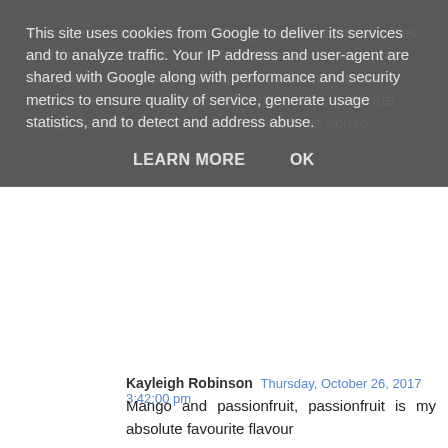This site uses cookies from Google to deliver its services and to analyze traffic. Your IP address and user-agent are shared with Google along with performance and security metrics to ensure quality of service, generate usage statistics, and to detect and address abuse.
LEARN MORE   OK
Kayleigh Robinson Thursday, October 26, 2017 3:42:00 pm
Mango and passionfruit, passionfruit is my absolute favourite flavour
Reply
sheridarby Friday, October 27, 2017 3:33:00 pm
Maple and Pecan
Reply
cat Friday, October 27, 2017 4:42:00 pm